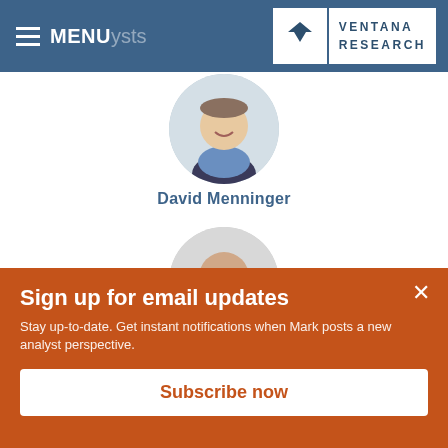MENU analysts — Ventana Research
[Figure (photo): Circular headshot of David Menninger, a smiling man in a dark jacket and blue shirt, against a blurred light background]
David Menninger
[Figure (photo): Circular headshot of a bald smiling man in a dark jacket, against a blurred light background]
Sign up for email updates
Stay up-to-date. Get instant notifications when Mark posts a new analyst perspective.
Subscribe now